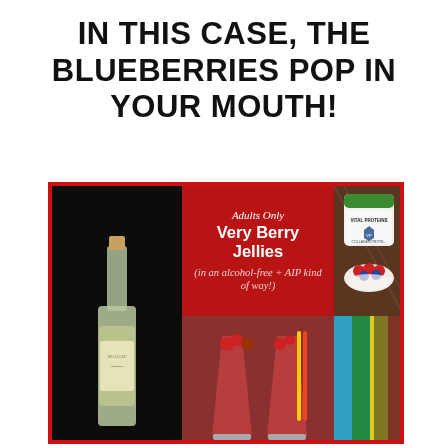IN THIS CASE, THE BLUEBERRIES POP IN YOUR MOUTH!
[Figure (photo): Collage image with four panels: left panel shows a wine bottle (Maggie) against dark background; center-top panel has red background with text 'Adults Only Very Berry Jellies (in an alcohol-free + AIP kind of way!)'; top-right panel shows a Vital Proteins Collagen Protein tub with raspberries and blueberries; bottom panels show berry drinks in glasses.]